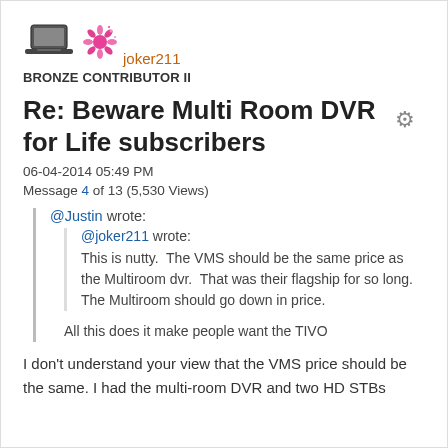[Figure (illustration): Laptop avatar icon (dark colored laptop silhouette)]
[Figure (illustration): Flower/badge avatar icon (pink sparkle flower)]
joker211
BRONZE CONTRIBUTOR II
Re: Beware Multi Room DVR for Life subscribers
06-04-2014 05:49 PM
Message 4 of 13 (5,530 Views)
@Justin wrote:
@joker211 wrote:
This is nutty.  The VMS should be the same price as the Multiroom dvr.  That was their flagship for so long.  The Multiroom should go down in price.

All this does it make people want the TIVO
I don't understand your view that the VMS price should be the same. I had the multi-room DVR and two HD STBs